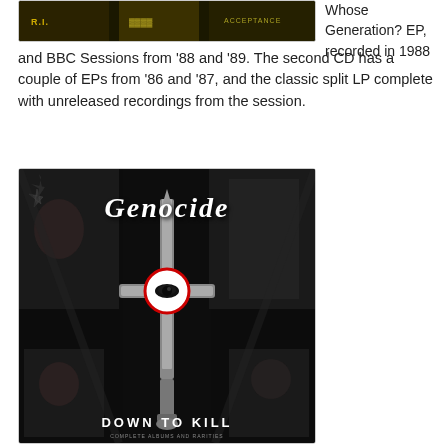[Figure (photo): Album cover image at top, partially visible, shows band name text and artwork in dark/monochrome style]
Whose Generation? EP, recorded in 1988 and BBC Sessions from '88 and '89. The second CD has a couple of EPs from '86 and '87, and the classic split LP complete with unreleased recordings from the session.
[Figure (photo): Album cover for Genocide - Down To Kill. Dark black and white image showing band members, a cross/dagger in the center with a circular eye symbol, band name 'Genocide' in gothic lettering at top, 'DOWN TO KILL' text at bottom.]